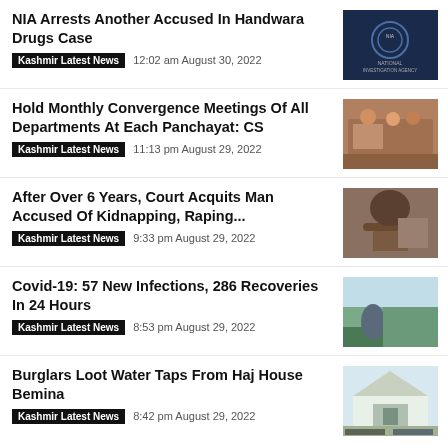NIA Arrests Another Accused In Handwara Drugs Case
Kashmir Latest News  12:02 am August 30, 2022
Hold Monthly Convergence Meetings Of All Departments At Each Panchayat: CS
Kashmir Latest News  11:13 pm August 29, 2022
After Over 6 Years, Court Acquits Man Accused Of Kidnapping, Raping...
Kashmir Latest News  9:33 pm August 29, 2022
Covid-19: 57 New Infections, 286 Recoveries In 24 Hours
Kashmir Latest News  8:53 pm August 29, 2022
Burglars Loot Water Taps From Haj House Bemina
Kashmir Latest News  8:42 pm August 29, 2022